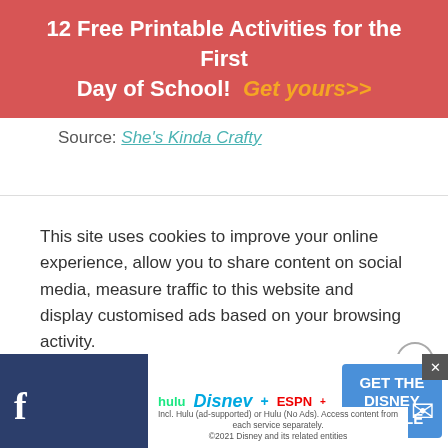12 Free Printable Activities for the First Day of School! Get yours>>
Source: She's Kinda Crafty
This site uses cookies to improve your online experience, allow you to share content on social media, measure traffic to this website and display customised ads based on your browsing activity.
Learn More
Accept
[Figure (other): Disney bundle advertisement showing Hulu, Disney+, ESPN+ logos and GET THE DISNEY BUNDLE button]
Incl. Hulu (ad-supported) or Hulu (No Ads). Access content from each service separately. ©2021 Disney and its related entities